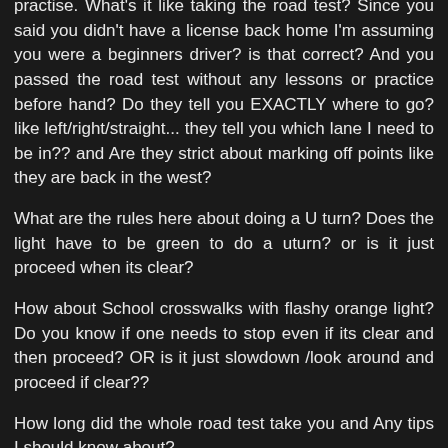practise. What's it like taking the road test? Since you said you didn't have a license back home I'm assuming you were a beginners driver? is that correct? And you passed the road test without any lessons or practice before hand? Do they tell you EXACTLY where to go? like left/right/straight... they tell you which lane I need to be in?? and Are they strict about marking off points like they are back in the west?
What are the rules here about doing a U turn? Does the light have to be green to do a uturn? or is it just proceed when its clear?
How about School crosswalks with flashy orange light? Do you know if one needs to stop even if its clear and then proceed? OR is it just slowdown /look around and proceed if clear??
How long did the whole road test take you and Any tips I should know about?
Since nov 11th 2012 they changed the road test to a computer calculated one where you don't need to